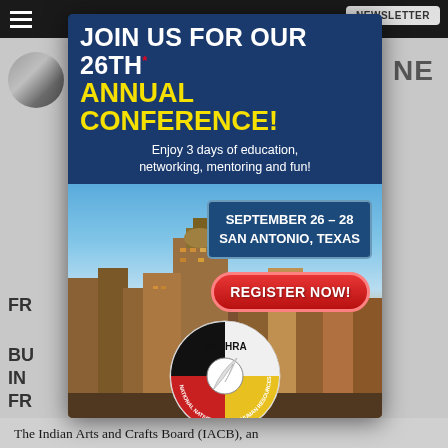[Figure (infographic): NNAHRA 26th Annual Conference advertisement modal overlay on a website background. Blue header with white bold text 'JOIN US FOR OUR 26TH* ANNUAL CONFERENCE!' (ANNUAL CONFERENCE in yellow), subtitle 'Enjoy 3 days of education, networking, mentoring and fun!', date box 'SEPTEMBER 26 - 28 SAN ANTONIO, TEXAS', red 'REGISTER NOW!' button, photo of San Antonio skyline, and NNAHRA circular logo at bottom.]
The Indian Arts and Crafts Board (IACB), an